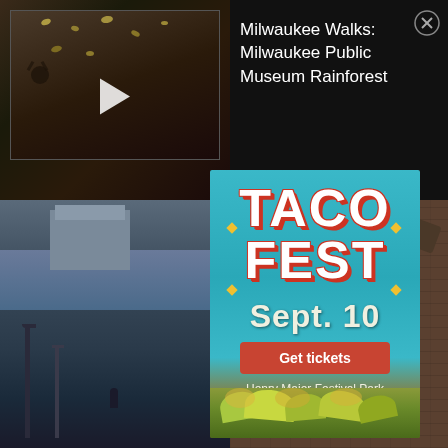[Figure (screenshot): Video thumbnail showing insect/butterfly display case in a natural history museum, with a play button overlay. Dark brownish tones with pinned specimens visible.]
Milwaukee Walks: Milwaukee Public Museum Rainforest
[Figure (photo): Background photo collage: left side shows Milwaukee waterfront/marina street scene with lamp posts; right side shows industrial equipment/barrels on brick building exterior.]
[Figure (infographic): Taco Fest advertisement overlay. Teal/turquoise background with large stylized text reading TACO FEST, date Sept. 10, Get tickets button, and Henry Maier Festival Park location. Bottom shows food imagery of tacos.]